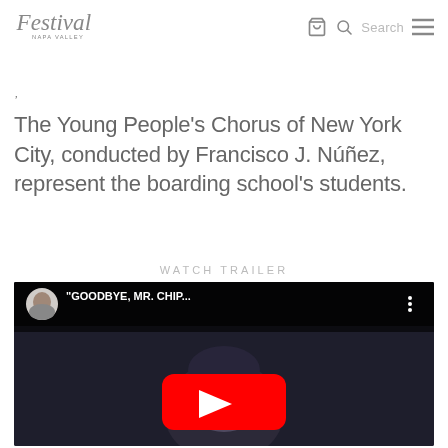Festival Napa Valley [logo] [search icon] Search [menu icon]
The Young People's Chorus of New York City, conducted by Francisco J. Núñez, represent the boarding school's students.
WATCH TRAILER
[Figure (screenshot): YouTube video thumbnail showing a bearded man looking upward against a dark chalkboard background. The video is titled "GOODBYE, MR. CHIP..." with a YouTube play button overlay. A circular avatar of a man appears in the top-left corner of the video card.]